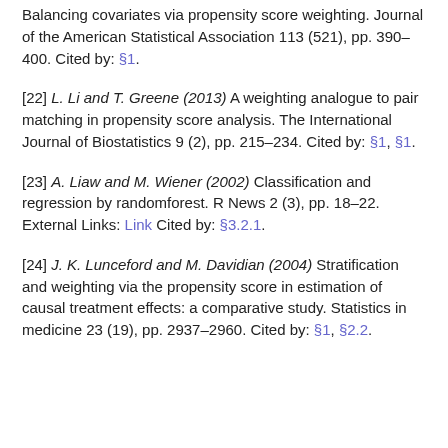Balancing covariates via propensity score weighting. Journal of the American Statistical Association 113 (521), pp. 390–400. Cited by: §1.
[22] L. Li and T. Greene (2013) A weighting analogue to pair matching in propensity score analysis. The International Journal of Biostatistics 9 (2), pp. 215–234. Cited by: §1, §1.
[23] A. Liaw and M. Wiener (2002) Classification and regression by randomforest. R News 2 (3), pp. 18–22. External Links: Link Cited by: §3.2.1.
[24] J. K. Lunceford and M. Davidian (2004) Stratification and weighting via the propensity score in estimation of causal treatment effects: a comparative study. Statistics in medicine 23 (19), pp. 2937–2960. Cited by: §1, §2.2.